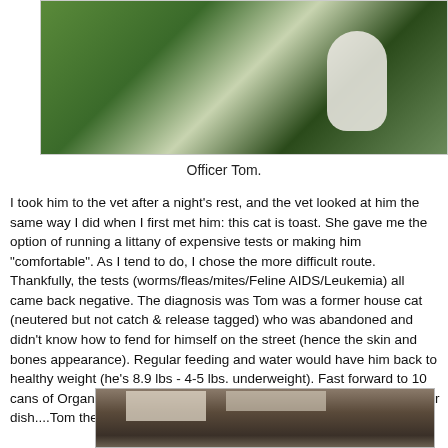[Figure (photo): Photo of a cat (Officer Tom) among green leafy plants outdoors, partially visible white cat body against lush vegetation]
Officer Tom.
I took him to the vet after a night's rest, and the vet looked at him the same way I did when I first met him: this cat is toast. She gave me the option of running a littany of expensive tests or making him "comfortable". As I tend to do, I chose the more difficult route. Thankfully, the tests (worms/fleas/mites/Feline AIDS/Leukemia) all came back negative. The diagnosis was Tom was a former house cat (neutered but not catch & release tagged) who was abandoned and didn't know how to fend for himself on the street (hence the skin and bones appearance). Regular feeding and water would have him back to healthy weight (he's 8.9 lbs - 4-5 lbs. underweight). Fast forward to 10 cans of Organic Protein Health Newman's Own, a litter box, and a water dish....Tom the Cat was a temporary member of the Yacht Club.
[Figure (photo): Partial interior photo showing what appears to be a boat or yacht interior with ceiling panels and walls visible]